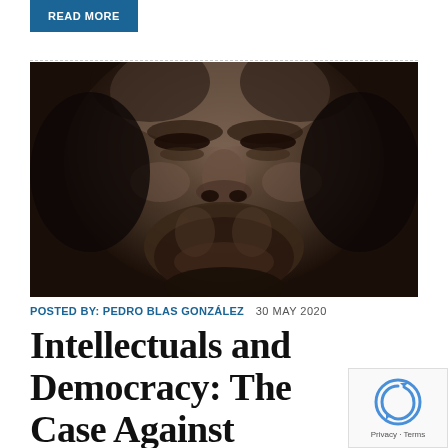READ MORE
[Figure (photo): Close-up of a dark bronze or stone bust sculpture showing the face of a bearded man, viewed from below at an upward angle. The face fills the entire frame.]
POSTED BY: PEDRO BLAS GONZÁLEZ   30 MAY 2020
Intellectuals and Democracy: The Case Against Radical Ideology